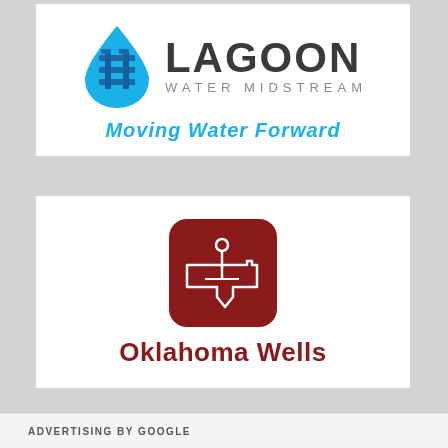[Figure (logo): Lagoon Water Midstream logo with blue water drop icon containing pipe/valve symbols, company name 'LAGOON' in dark bold letters, 'WATER MIDSTREAM' in grey spaced text, and tagline 'Moving Water Forward' in italic blue text]
[Figure (logo): Oklahoma Wells logo with a dark red rounded square icon showing the outline of Oklahoma state with a pin/marker, and text 'Oklahoma Wells' in bold dark red letters below]
ADVERTISING BY GOOGLE